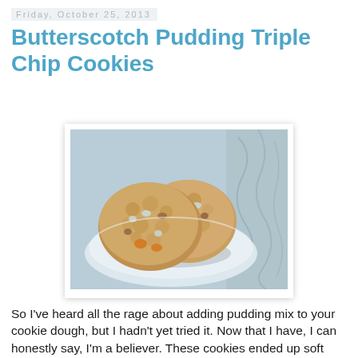Friday, October 25, 2013
Butterscotch Pudding Triple Chip Cookies
[Figure (photo): Two large butterscotch pudding triple chip cookies stacked on a white plate, showing chocolate and butterscotch chips, on a patterned gray tablecloth background.]
So I've heard all the rage about adding pudding mix to your cookie dough, but I hadn't yet tried it.  Now that I have, I can honestly say, I'm a believer.  These cookies ended up soft and fluffy in a way that I don't think I've had before.  With the addition of enhancing the dough with great butterscotch